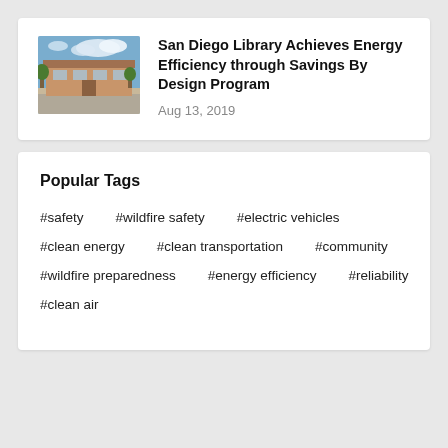[Figure (photo): Exterior photo of a library building with blue sky and clouds]
San Diego Library Achieves Energy Efficiency through Savings By Design Program
Aug 13, 2019
Popular Tags
#safety
#wildfire safety
#electric vehicles
#clean energy
#clean transportation
#community
#wildfire preparedness
#energy efficiency
#reliability
#clean air